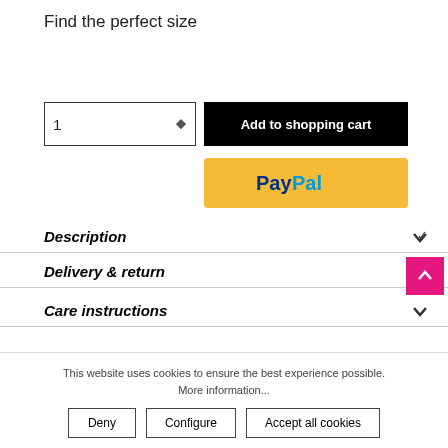Find the perfect size
[Figure (screenshot): Quantity selector input box with value 1 and up/down arrows]
[Figure (screenshot): Black 'Add to shopping cart' button]
[Figure (screenshot): Yellow PayPal button with PayPal logo]
Description
Delivery & return
Care instructions
This website uses cookies to ensure the best experience possible. More information...
Deny | Configure | Accept all cookies